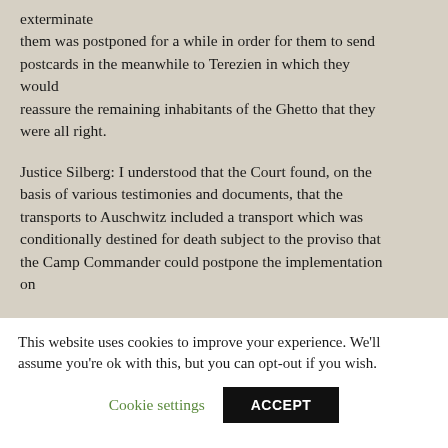exterminate them was postponed for a while in order for them to send postcards in the meanwhile to Terezien in which they would reassure the remaining inhabitants of the Ghetto that they were all right.
Justice Silberg: I understood that the Court found, on the basis of various testimonies and documents, that the transports to Auschwitz included a transport which was conditionally destined for death subject to the proviso that the Camp Commander could postpone the implementation on
This website uses cookies to improve your experience. We'll assume you're ok with this, but you can opt-out if you wish.